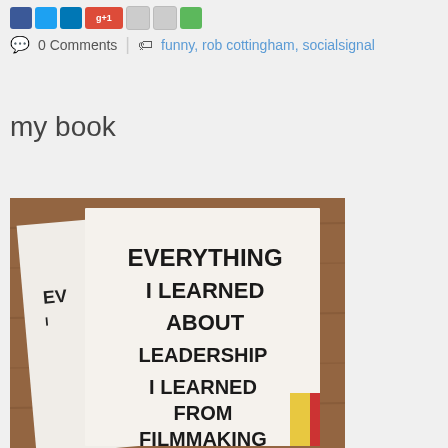0 Comments | funny, rob cottingham, socialsignal
my book
[Figure (photo): Photo of a book titled 'Everything I Learned About Leadership I Learned From Filmmaking', showing the book cover with large bold black text on a white background, with multiple copies fanned out on a wooden surface.]